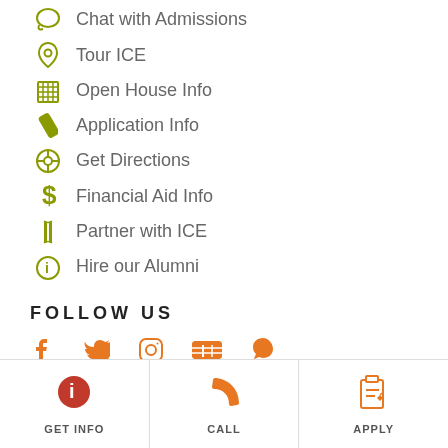Chat with Admissions
Tour ICE
Open House Info
Application Info
Get Directions
Financial Aid Info
Partner with ICE
Hire our Alumni
FOLLOW US
[Figure (infographic): Social media icons: Facebook, Twitter, Instagram, YouTube, Snapchat in orange]
GET INFO | CALL | APPLY